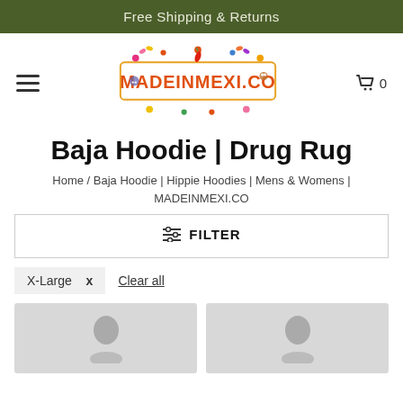Free Shipping & Returns
[Figure (logo): MADEINMEXI.CO colorful decorative logo with flowers and folk art]
Baja Hoodie | Drug Rug
Home / Baja Hoodie | Hippie Hoodies | Mens & Womens | MADEINMEXI.CO
FILTER
X-Large x  Clear all